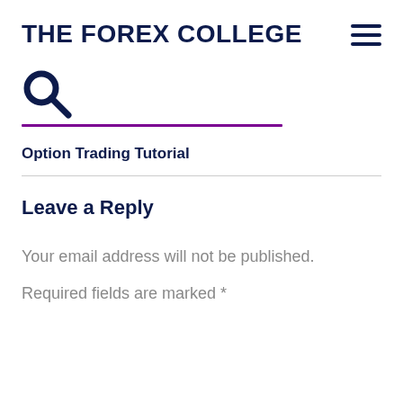THE FOREX COLLEGE
[Figure (other): Search icon (magnifying glass) with purple underline bar below]
Option Trading Tutorial
Leave a Reply
Your email address will not be published. Required fields are marked *